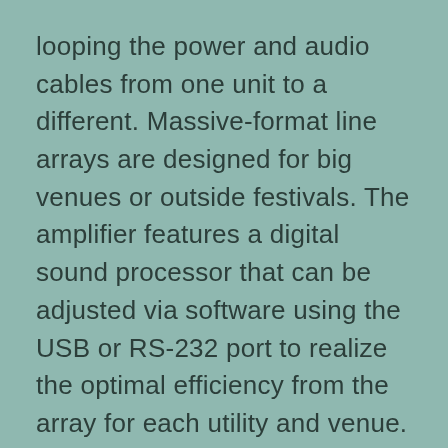looping the power and audio cables from one unit to a different. Massive-format line arrays are designed for big venues or outside festivals. The amplifier features a digital sound processor that can be adjusted via software using the USB or RS-232 port to realize the optimal efficiency from the array for each utility and venue. B-b POWER is the subwoofer comprising 2 items of 12″ woofers while β-a is the mid & high speaker comprising 2 pieces of 6.5″ MF drivers and 1 items of two″ tweeter. four,The mechanical and acoustical design allows flown vertical arrays of as much as